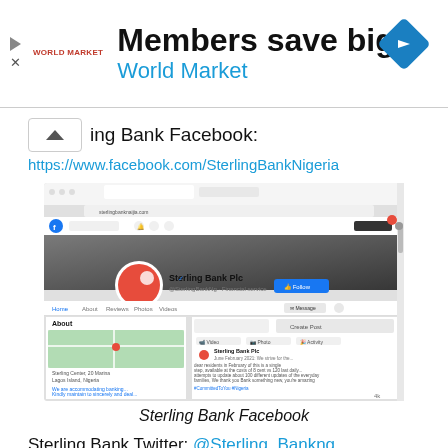[Figure (screenshot): Advertisement banner for World Market: 'Members save big / World Market' with logo icon and navigation arrow diamond icon]
Sterling Bank Facebook:
https://www.facebook.com/SterlingBankNigeria
[Figure (screenshot): Screenshot of Sterling Bank Plc Facebook page showing profile picture, cover photo, About section with map, and a post]
Sterling Bank Facebook
Sterling Bank Twitter: @Sterling_Bankng